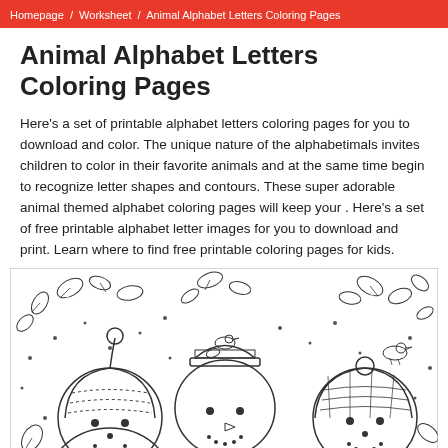Homepage / Worksheet / Animal Alphabet Letters Coloring Pages
Animal Alphabet Letters Coloring Pages
Here's a set of printable alphabet letters coloring pages for you to download and color. The unique nature of the alphabetimals invites children to color in their favorite animals and at the same time begin to recognize letter shapes and contours. These super adorable animal themed alphabet coloring pages will keep your . Here's a set of free printable alphabet letter images for you to download and print. Learn where to find free printable coloring pages for kids.
[Figure (illustration): A coloring page illustration showing three snowmen wearing knitted hats and scarves, surrounded by falling snow and autumn/winter leaves. Small birds perch on the snowmen. The image is black and white, designed for coloring.]